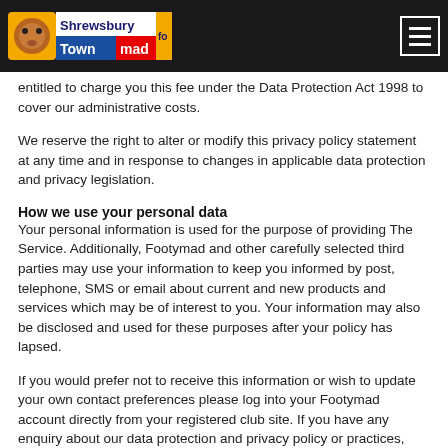Shrewsbury Town Footymad
entitled to charge you this fee under the Data Protection Act 1998 to cover our administrative costs.
We reserve the right to alter or modify this privacy policy statement at any time and in response to changes in applicable data protection and privacy legislation.
How we use your personal data
Your personal information is used for the purpose of providing The Service. Additionally, Footymad and other carefully selected third parties may use your information to keep you informed by post, telephone, SMS or email about current and new products and services which may be of interest to you. Your information may also be disclosed and used for these purposes after your policy has lapsed.
If you would prefer not to receive this information or wish to update your own contact preferences please log into your Footymad account directly from your registered club site. If you have any enquiry about our data protection and privacy policy or practices,